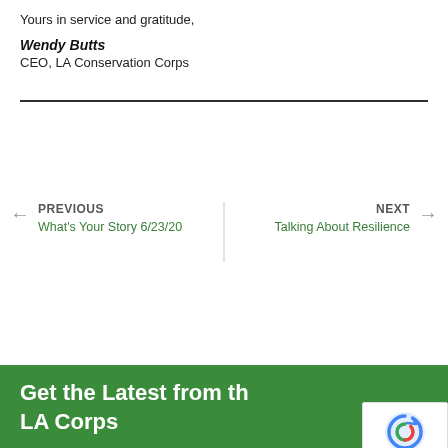Yours in service and gratitude,
Wendy Butts
CEO, LA Conservation Corps
PREVIOUS
What's Your Story 6/23/20
NEXT
Talking About Resilience
Get the Latest from the LA Corps